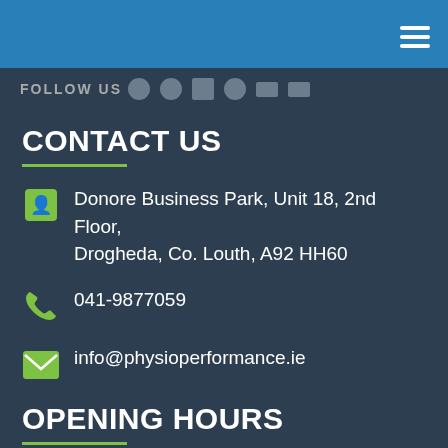FOLLOW US (social media icons)
CONTACT US
Donore Business Park, Unit 18, 2nd Floor, Drogheda, Co. Louth, A92 HH60
041-9877059
info@physioperformance.ie
OPENING HOURS